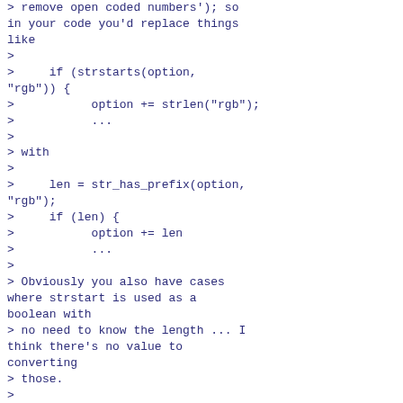> remove open coded numbers'); so in your code you'd replace things like
>
>     if (strstarts(option, "rgb")) {
>           option += strlen("rgb");
>           ...
>
> with
>
>     len = str_has_prefix(option, "rgb");
>     if (len) {
>           option += len
>           ...
>
> Obviously you also have cases where strstart is used as a boolean with
> no need to know the length ... I think there's no value to converting
> those.
>

This will lead to worse code being generated. strlen() is evaluated at
build time by the compiler if the argument is a string literal, so